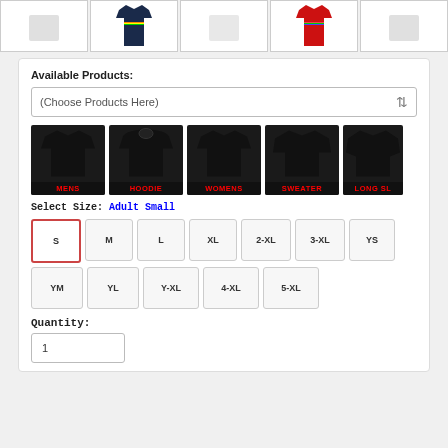[Figure (photo): Row of 5 t-shirt thumbnail product images, including navy and red shirts with colorful designs]
Available Products:
(Choose Products Here)
[Figure (illustration): Five product type thumbnails: MENS t-shirt, HOODIE, WOMENS t-shirt, SWEATER, LONG SL... - all black garments with red label text]
Select Size: Adult Small
S
M
L
XL
2-XL
3-XL
YS
YM
YL
Y-XL
4-XL
5-XL
Quantity:
1